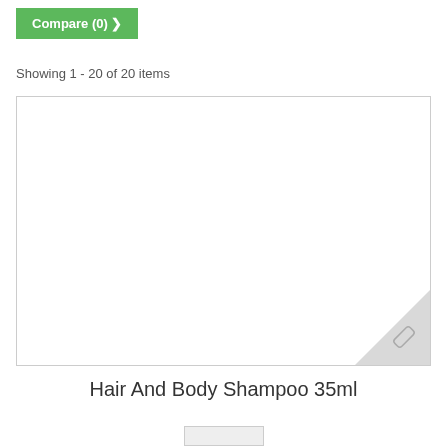Compare (0) ❯
Showing 1 - 20 of 20 items
[Figure (photo): Empty product image placeholder with a resize handle in the bottom-right corner]
Hair And Body Shampoo 35ml